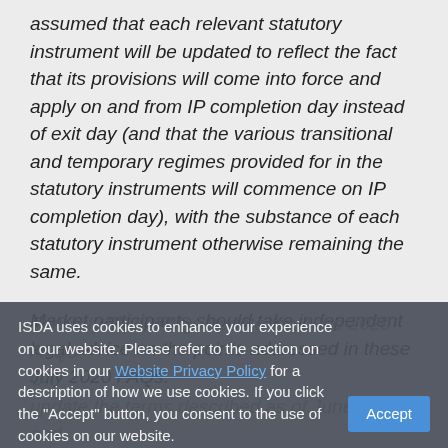assumed that each relevant statutory instrument will be updated to reflect the fact that its provisions will come into force and apply on and from IP completion day instead of exit day (and that the various transitional and temporary regimes provided for in the statutory instruments will commence on IP completion day), with the substance of each statutory instrument otherwise remaining the same.

Market participants should take independent legal advice on the points addressed in these July 2020 FAQs.
ISDA uses cookies to enhance your experience on our website. Please refer to the section on cookies in our Website Privacy Policy for a description of how we use cookies. If you click the "Accept" button, you consent to the use of cookies on our website.
The July 2020 FAQs update the June 2020 FAQs upon the terms described above (as of June 2020 and thereafter) to address the matters described earlier that date. All other FAQs remain the same as in the